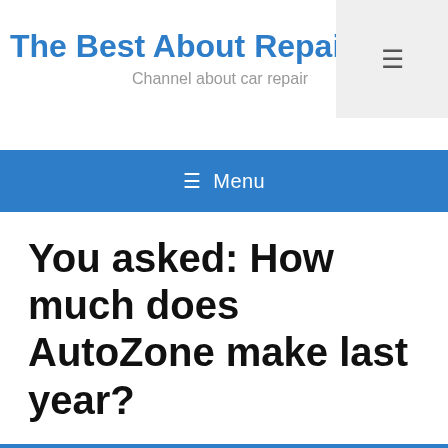The Best About Repai
Channel about car repair
≡ Menu
You asked: How much does AutoZone make last year?